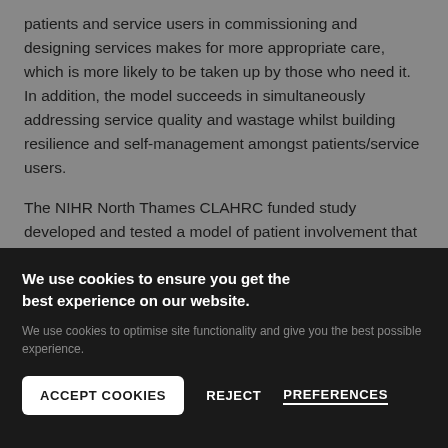patients and service users in commissioning and designing services makes for more appropriate care, which is more likely to be taken up by those who need it. In addition, the model succeeds in simultaneously addressing service quality and wastage whilst building resilience and self-management amongst patients/service users.
The NIHR North Thames CLAHRC funded study developed and tested a model of patient involvement that can demonstrate improvements in service commissioning and
We use cookies to ensure you get the best experience on our website.
We use cookies to optimise site functionality and give you the best possible experience.
ACCEPT COOKIES
REJECT
PREFERENCES